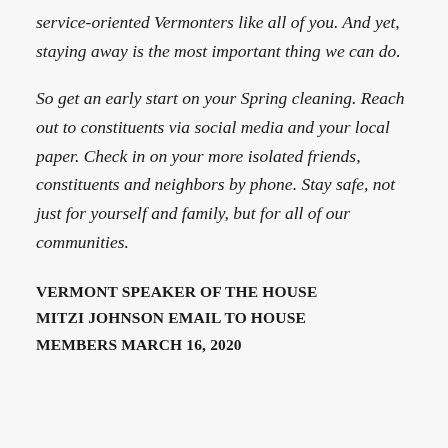service-oriented Vermonters like all of you. And yet, staying away is the most important thing we can do.
So get an early start on your Spring cleaning. Reach out to constituents via social media and your local paper. Check in on your more isolated friends, constituents and neighbors by phone. Stay safe, not just for yourself and family, but for all of our communities.
VERMONT SPEAKER OF THE HOUSE MITZI JOHNSON EMAIL TO HOUSE MEMBERS MARCH 16, 2020